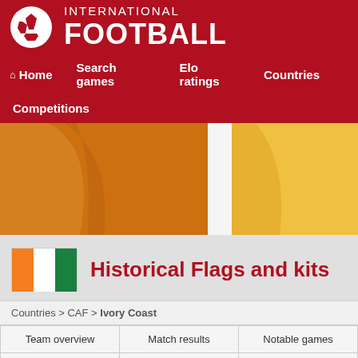INTERNATIONAL FOOTBALL
Home
Search games
Elo ratings
Countries
Competitions
[Figure (photo): Close-up of orange and yellow football jerseys/sleeves]
Historical Flags and kits
Countries > CAF > Ivory Coast
Team overview
Match results
Notable games
Team Honours
Elo graphics
Demographics